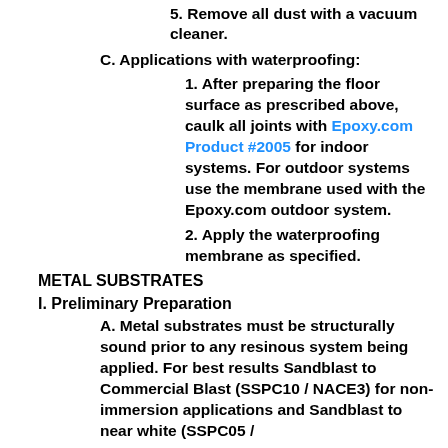5. Remove all dust with a vacuum cleaner.
C. Applications with waterproofing:
1. After preparing the floor surface as prescribed above, caulk all joints with Epoxy.com Product #2005 for indoor systems. For outdoor systems use the membrane used with the Epoxy.com outdoor system.
2. Apply the waterproofing membrane as specified.
METAL SUBSTRATES
I. Preliminary Preparation
A. Metal substrates must be structurally sound prior to any resinous system being applied. For best results Sandblast to Commercial Blast (SSPC10 / NACE3) for non-immersion applications and Sandblast to near white (SSPC05 /